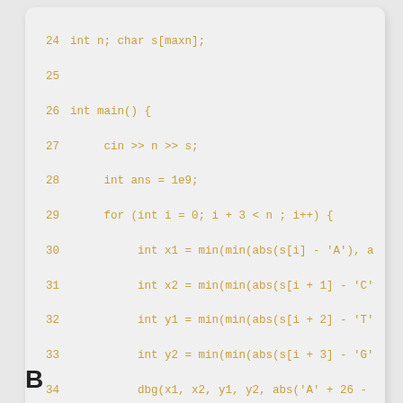[Figure (screenshot): Code snippet in C++ with amber/yellow monospace font on a light gray card background, showing lines 24-39 of a program involving min, abs, cin, cout, and a for loop.]
B